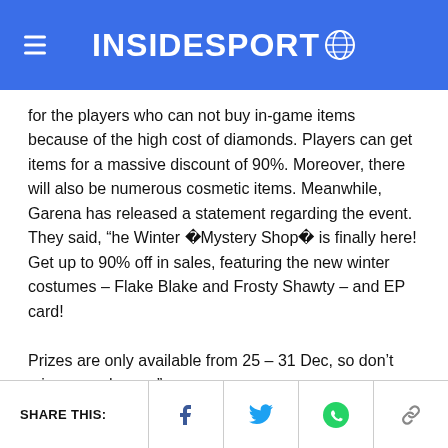INSIDESPORT
for the players who can not buy in-game items because of the high cost of diamonds. Players can get items for a massive discount of 90%. Moreover, there will also be numerous cosmetic items. Meanwhile, Garena has released a statement regarding the event. They said, “he Winter �Mystery Shop� is finally here! Get up to 90% off in sales, featuring the new winter costumes – Flake Blake and Frosty Shawty – and EP card!

Prizes are only available from 25 – 31 Dec, so don’t miss your chance.”
SHARE THIS: